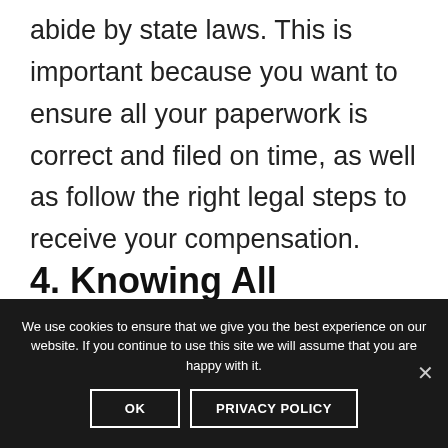abide by state laws. This is important because you want to ensure all your paperwork is correct and filed on time, as well as follow the right legal steps to receive your compensation.
4. Knowing All Possible Angles of Damage
We use cookies to ensure that we give you the best experience on our website. If you continue to use this site we will assume that you are happy with it.